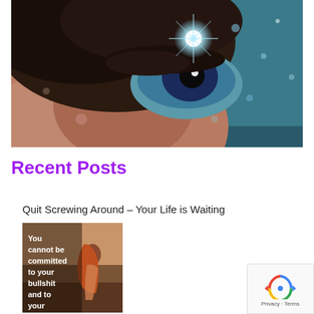[Figure (photo): Close-up photograph of a human eye with artistic blue light/sparkle effects overlaid, with teal/dark background. Blurred and dreamy aesthetic.]
Recent Posts
Quit Screwing Around – Your Life is Waiting
[Figure (photo): Motivational image with a woman silhouette and text overlay reading: 'You cannot be committed to your bullshit and to your']